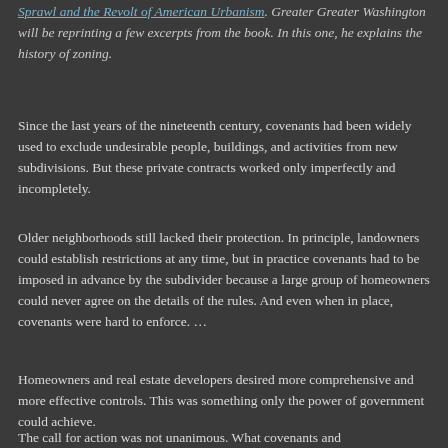Sprawl and the Revolt of American Urbanism. Greater Greater Washington will be reprinting a few excerpts from the book. In this one, he explains the history of zoning.
Since the last years of the nineteenth century, covenants had been widely used to exclude undesirable people, buildings, and activities from new subdivisions. But these private contracts worked only imperfectly and incompletely.
Older neighborhoods still lacked their protection. In principle, landowners could establish restrictions at any time, but in practice covenants had to be imposed in advance by the subdivider because a large group of homeowners could never agree on the details of the rules. And even when in place, covenants were hard to enforce. …
Homeowners and real estate developers desired more comprehensive and more effective controls. This was something only the power of government could achieve.
The call for action was not unanimous. What covenants and